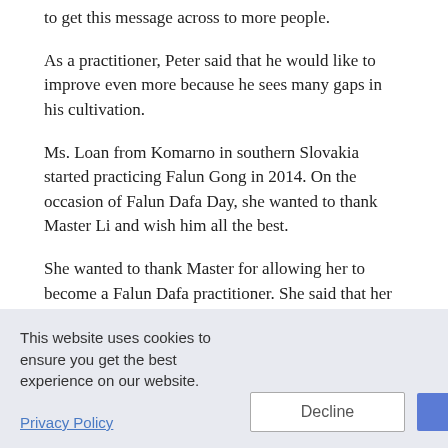to get this message across to more people.
As a practitioner, Peter said that he would like to improve even more because he sees many gaps in his cultivation.
Ms. Loan from Komarno in southern Slovakia started practicing Falun Gong in 2014. On the occasion of Falun Dafa Day, she wanted to thank Master Li and wish him all the best.
She wanted to thank Master for allowing her to become a Falun Dafa practitioner. She said that her life has become happier and her health is much stronger. The quality of her
This website uses cookies to ensure you get the best experience on our website.
Privacy Policy